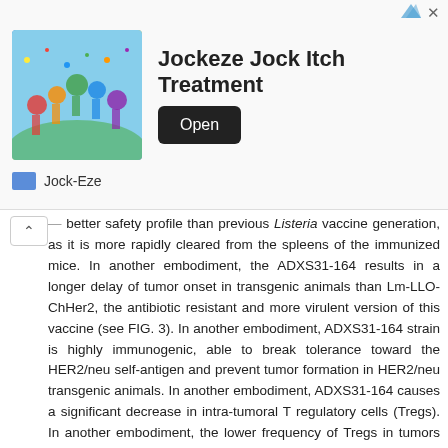[Figure (other): Advertisement banner for Jockeze Jock Itch Treatment showing a sports crowd image, product title, Open button, and Jock-Eze brand logo]
better safety profile than previous Listeria vaccine generation, as it is more rapidly cleared from the spleens of the immunized mice. In another embodiment, the ADXS31-164 results in a longer delay of tumor onset in transgenic animals than Lm-LLO-ChHer2, the antibiotic resistant and more virulent version of this vaccine (see FIG. 3). In another embodiment, ADXS31-164 strain is highly immunogenic, able to break tolerance toward the HER2/neu self-antigen and prevent tumor formation in HER2/neu transgenic animals. In another embodiment, ADXS31-164 causes a significant decrease in intra-tumoral T regulatory cells (Tregs). In another embodiment, the lower frequency of Tregs in tumors treated with LmddA vaccines resulted in an increased intratumoral CD8/Tregs ratio, suggesting that a more favorable tumor microenvironment can be obtained after immunization with LmddA vaccines. In another embodiment, the use of this chimeric antigen does not result in escape mutations indicating that tumors do not mutate away from a therapeutic efficacious response to treatment with this novel antigen (see Example 6). In another embodiment, peripheral immunization with ADXS31-164 delays the growth of a metastatic breast